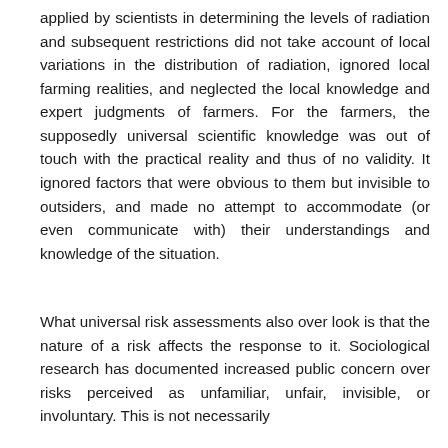applied by scientists in determining the levels of radiation and subsequent restrictions did not take account of local variations in the distribution of radiation, ignored local farming realities, and neglected the local knowledge and expert judgments of farmers. For the farmers, the supposedly universal scientific knowledge was out of touch with the practical reality and thus of no validity. It ignored factors that were obvious to them but invisible to outsiders, and made no attempt to accommodate (or even communicate with) their understandings and knowledge of the situation.
What universal risk assessments also over look is that the nature of a risk affects the response to it. Sociological research has documented increased public concern over risks perceived as unfamiliar, unfair, invisible, or involuntary. This is not necessarily